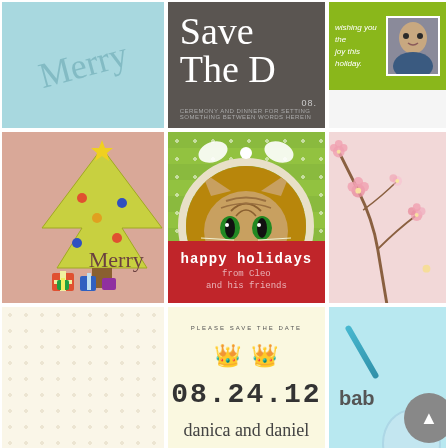[Figure (illustration): Light blue greeting card with cursive script text in lighter blue]
[Figure (illustration): Dark grey save the date card with cursive script title and date 08. with small text below]
[Figure (illustration): Green card with wishing you the joy this holiday text and family photo]
[Figure (illustration): Peachy-pink card with illustrated Christmas tree and gifts, cursive Merry text]
[Figure (illustration): Green striped card with cat photo in circle with bow, red banner saying happy holidays from Cleo and his friends]
[Figure (illustration): Pink card with cherry blossom branch illustration]
[Figure (illustration): Cream card with dot pattern and cursive text from the desk of little velvet]
[Figure (illustration): Yellow save the date card with crown icons, date 08.24.12, names danica and daniel, are getting married, formal invitations to follow]
[Figure (illustration): Blue baby card with balloon and pin, text bab partially visible]